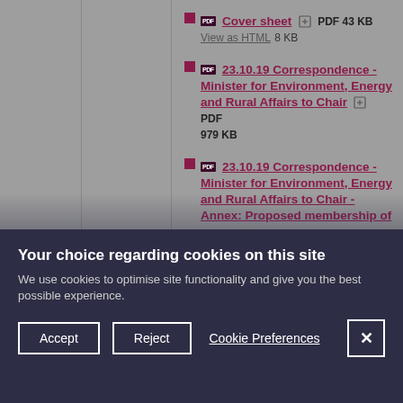Cover sheet  PDF 43 KB  View as HTML 8 KB
23.10.19 Correspondence - Minister for Environment, Energy and Rural Affairs to Chair  PDF 979 KB
23.10.19 Correspondence - Minister for Environment, Energy and Rural Affairs to Chair - Annex: Proposed membership of
Your choice regarding cookies on this site
We use cookies to optimise site functionality and give you the best possible experience.